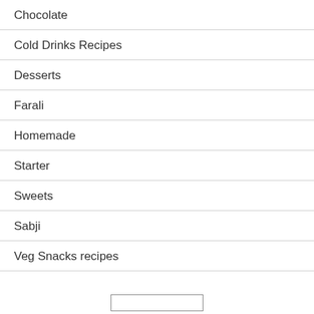Chocolate
Cold Drinks Recipes
Desserts
Farali
Homemade
Starter
Sweets
Sabji
Veg Snacks recipes